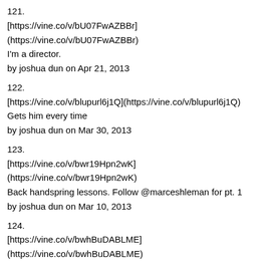121.
[https://vine.co/v/bU07FwAZBBr]
(https://vine.co/v/bU07FwAZBBr)
I'm a director.
by joshua dun on Apr 21, 2013
122.
[https://vine.co/v/blupurl6j1Q](https://vine.co/v/blupurl6j1Q)
Gets him every time
by joshua dun on Mar 30, 2013
123.
[https://vine.co/v/bwr19Hpn2wK]
(https://vine.co/v/bwr19Hpn2wK)
Back handspring lessons. Follow @marceshleman for pt. 1
by joshua dun on Mar 10, 2013
124.
[https://vine.co/v/bwhBuDABLME]
(https://vine.co/v/bwhBuDABLME)